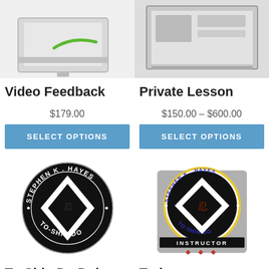[Figure (photo): Photo of a tablet/laptop with a green cord, product image for Video Feedback]
[Figure (photo): Photo of a tablet/screen device, product image for Private Lesson]
Video Feedback
Private Lesson
$179.00
$150.00 – $600.00
SELECT OPTIONS
SELECT OPTIONS
[Figure (logo): Black and white circular logo: Stephen K. Hayes To-Shin Do dojo emblem with diamond shuriken design]
[Figure (logo): Color circular logo with yellow border: Stephen K. Hayes To-Shin Do Instructor badge with diamond shuriken and red figure]
To-Shin Do Dojo
Trainer